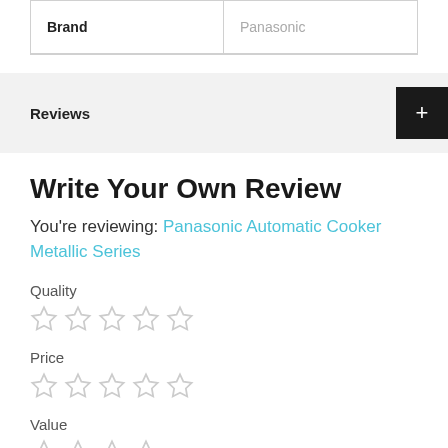| Brand | Panasonic |
Reviews
Write Your Own Review
You're reviewing: Panasonic Automatic Cooker Metallic Series
Quality
[Figure (other): 5 empty star rating icons for Quality]
Price
[Figure (other): 5 empty star rating icons for Price]
Value
[Figure (other): Partial view of 5 empty star rating icons for Value]